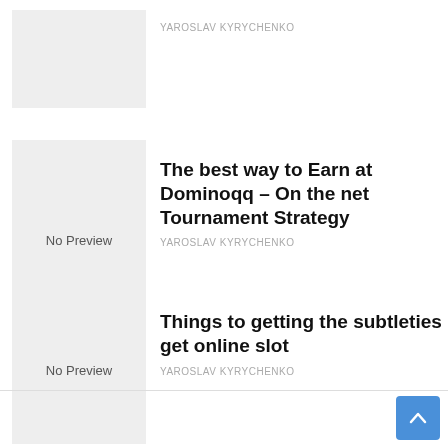[Figure (other): No Preview thumbnail placeholder (partial, top of page)]
YAROSLAV KYRYCHENKO
[Figure (other): No Preview thumbnail placeholder]
The best way to Earn at Dominoqq – On the net Tournament Strategy
YAROSLAV KYRYCHENKO
[Figure (other): No Preview thumbnail placeholder]
Things to getting the subtleties get online slot
YAROSLAV KYRYCHENKO